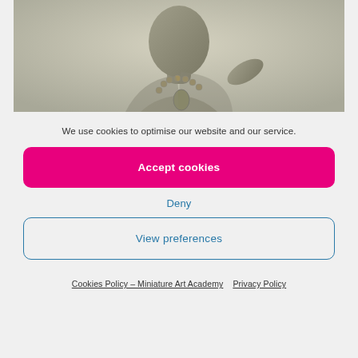[Figure (photo): A sculpture or statue of a person from the torso up, wearing a beaded necklace, rendered in grayish-green tones, against a light gray background.]
We use cookies to optimise our website and our service.
Accept cookies
Deny
View preferences
Cookies Policy – Miniature Art Academy   Privacy Policy